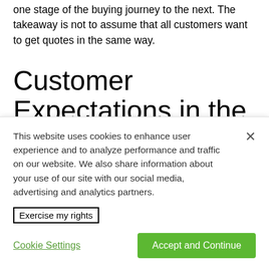one stage of the buying journey to the next. The takeaway is not to assume that all customers want to get quotes in the same way.
Customer Expectations in the Insurance Quoting Process
This website uses cookies to enhance user experience and to analyze performance and traffic on our website. We also share information about your use of our site with our social media, advertising and analytics partners.
Exercise my rights
Cookie Settings
Accept and Continue